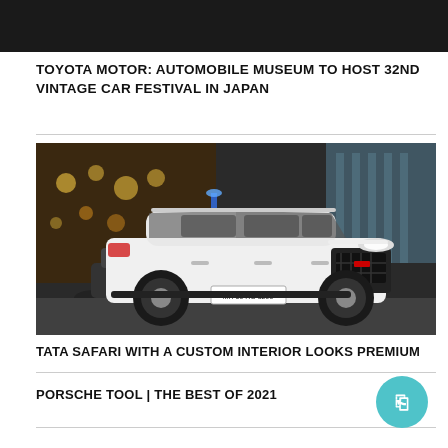[Figure (photo): Dark banner/header area at the top of the page, black background]
TOYOTA MOTOR: AUTOMOBILE MUSEUM TO HOST 32ND VINTAGE CAR FESTIVAL IN JAPAN
[Figure (photo): White Tata Safari SUV with custom body kit parked in front of a decorated shop at night, with a scooter visible on the left and a glass tower building on the right]
TATA SAFARI WITH A CUSTOM INTERIOR LOOKS PREMIUM
PORSCHE TOOL | THE BEST OF 2021